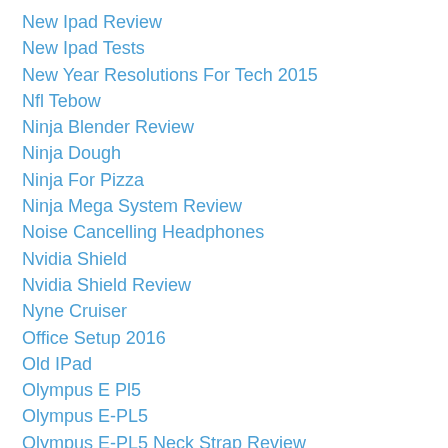New Ipad Review
New Ipad Tests
New Year Resolutions For Tech 2015
Nfl Tebow
Ninja Blender Review
Ninja Dough
Ninja For Pizza
Ninja Mega System Review
Noise Cancelling Headphones
Nvidia Shield
Nvidia Shield Review
Nyne Cruiser
Office Setup 2016
Old IPad
Olympus E Pl5
Olympus E-PL5
Olympus E-PL5 Neck Strap Review
Olympus With Canon Adapter
Online Backup Review
Online Photography
Orbi Mesh...